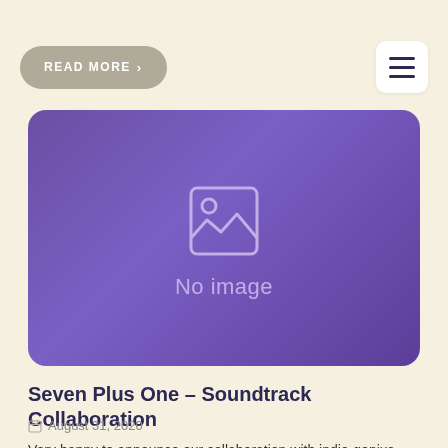READ MORE >
[Figure (illustration): Purple card with 'No image' placeholder icon (image placeholder icon with mountain and sun) and text 'No image' on a purple gradient background with rounded corners. Faint background photograph of anime/illustrated characters visible beneath the purple overlay.]
Seven Plus One – Soundtrack Collaboration
August 31, 2020
Very happy to announce our collaboration with indie-genius Indranil Kashyap for the Seven Plus One project, a thriller